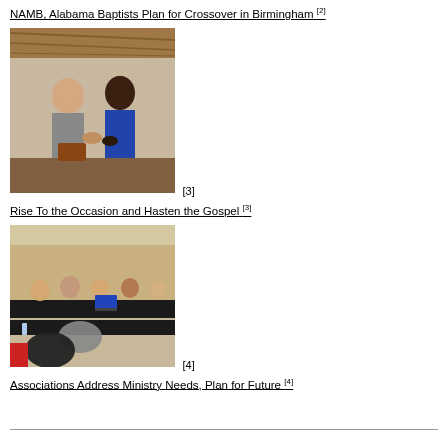NAMB, Alabama Baptists Plan for Crossover in Birmingham [2]
[Figure (photo): Two men in conversation, seated indoors with straw/thatch ceiling visible, one wearing a gray shirt]
Rise To the Occasion and Hasten the Gospel [3]
[Figure (photo): Meeting room with people seated around tables with laptops, viewed from behind]
Associations Address Ministry Needs, Plan for Future [4]